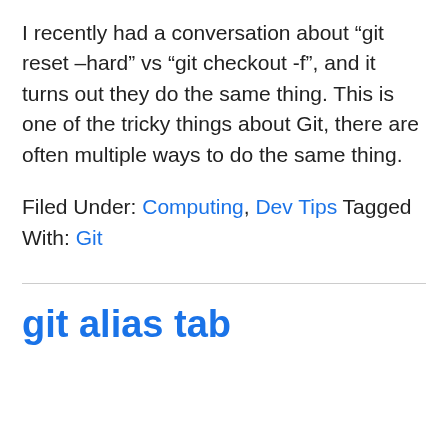I recently had a conversation about “git reset –hard” vs “git checkout -f”, and it turns out they do the same thing. This is one of the tricky things about Git, there are often multiple ways to do the same thing.
Filed Under: Computing, Dev Tips Tagged With: Git
git alias tab